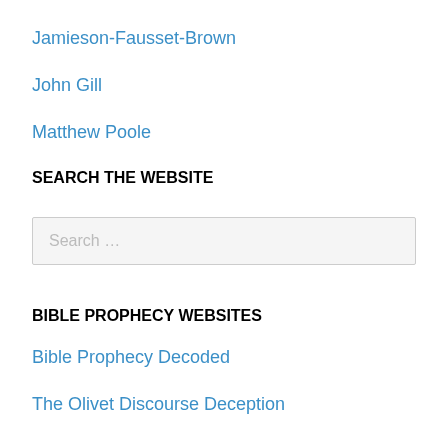Jamieson-Fausset-Brown
John Gill
Matthew Poole
SEARCH THE WEBSITE
Search …
BIBLE PROPHECY WEBSITES
Bible Prophecy Decoded
The Olivet Discourse Deception